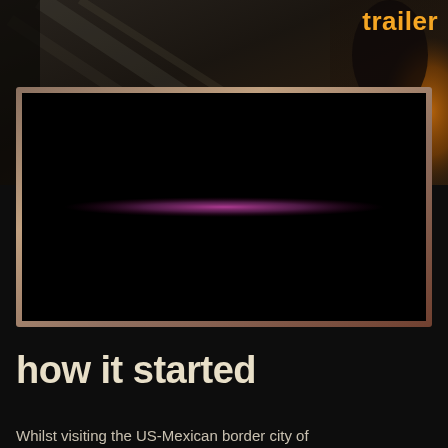[Figure (photo): Dark cinematic still from a video/film, showing a blurred scene through a window or vehicle interior with warm amber tones on the right side. The word 'trailer' appears in orange text in the top-right corner.]
trailer
[Figure (screenshot): A black video player window with a faint horizontal purple/magenta glowing bar across the middle, suggesting a paused or loading video frame. The video player has a thin metallic/bronze border.]
how it started
Whilst visiting the US-Mexican border city of